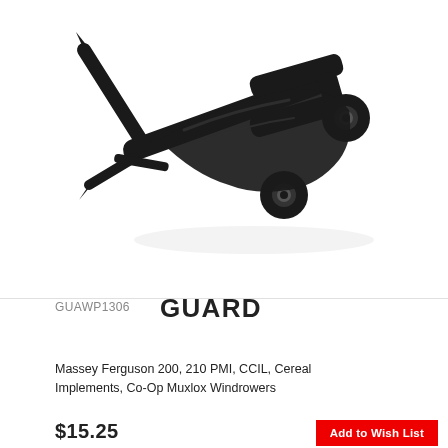[Figure (photo): Black metal guard part with two pointed prongs at left and a U-shaped bracket/yoke at right with two round bolt holes, seen at a diagonal angle on white background]
GUAWP1306   GUARD
Massey Ferguson 200, 210 PMI, CCIL, Cereal Implements, Co-Op Muxlox Windrowers
$15.25
Add to Wish List